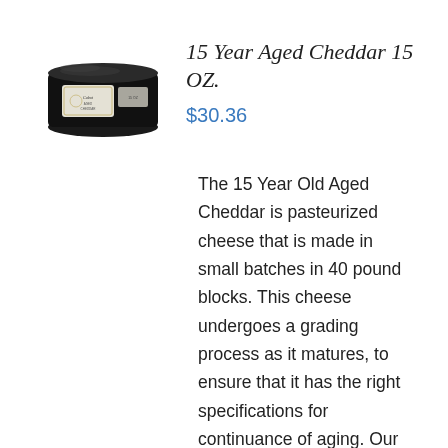[Figure (photo): Photo of 15 Year Aged Cheddar cheese block in black wax packaging with a label, viewed from above at a slight angle.]
15 Year Aged Cheddar 15 OZ.
$30.36
The 15 Year Old Aged Cheddar is pasteurized cheese that is made in small batches in 40 pound blocks. This cheese undergoes a grading process as it matures, to ensure that it has the right specifications for continuance of aging. Our cheddar develops richer and more complex flavors over time and this cheddar has reached the pinnacle of those flavors. The result is an extremely